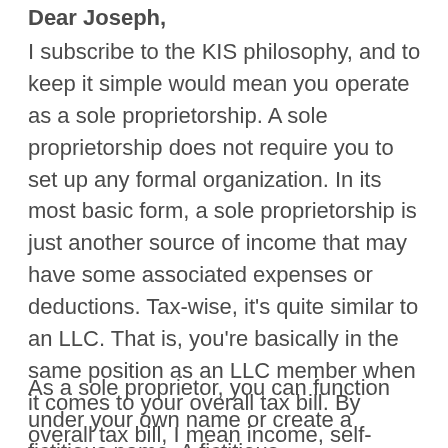Dear Joseph,
I subscribe to the KIS philosophy, and to keep it simple would mean you operate as a sole proprietorship. A sole proprietorship does not require you to set up any formal organization. In its most basic form, a sole proprietorship is just another source of income that may have some associated expenses or deductions. Tax-wise, it's quite similar to an LLC. That is, you're basically in the same position as an LLC member when it comes to your overall tax bill. By overall tax bill, I mean income, self-employment taxes and the availability of tax deductions and credits.
As a sole proprietor, you can function under your own name or create a fictitious name. A fictitious